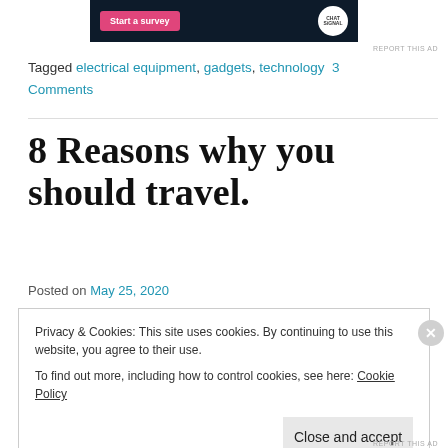[Figure (screenshot): Ad banner with pink 'Start a survey' button and Chat Signal logo on dark background]
Tagged electrical equipment, gadgets, technology 3 Comments
8 Reasons why you should travel.
Posted on May 25, 2020
Privacy & Cookies: This site uses cookies. By continuing to use this website, you agree to their use. To find out more, including how to control cookies, see here: Cookie Policy
Close and accept